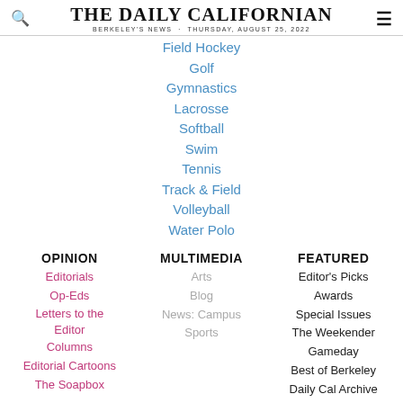THE DAILY CALIFORNIAN
BERKELEY'S NEWS · THURSDAY, AUGUST 25, 2022
Field Hockey
Golf
Gymnastics
Lacrosse
Softball
Swim
Tennis
Track & Field
Volleyball
Water Polo
OPINION
Editorials
Op-Eds
Letters to the Editor
Columns
Editorial Cartoons
The Soapbox
MULTIMEDIA
Arts
Blog
News: Campus
Sports
FEATURED
Editor's Picks
Awards
Special Issues
The Weekender
Gameday
Best of Berkeley
Daily Cal Archive